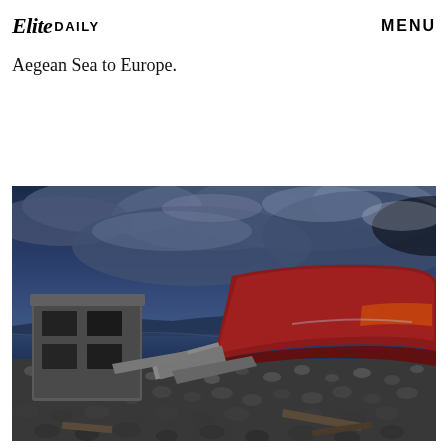Elite DAILY   MENU
the shores of Lesbos with soaked Iraqis and Syrians who had just taken the deadly five-kilometer journey across the Aegean Sea to Europe.
[Figure (photo): Wrecked and overturned refugee boats on a rocky beach under a dramatic dark blue cloudy sky. The foreground shows a red capsized boat hull and debris of broken wooden and metal boat parts scattered on pebble stones near the water.]